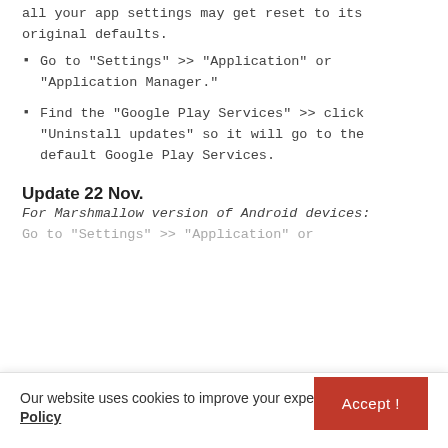all your app settings may get reset to its original defaults.
Go to "Settings" >> "Application" or "Application Manager."
Find the "Google Play Services" >> click "Uninstall updates" so it will go to the default Google Play Services.
Update 22 Nov.
For Marshmallow version of Android devices:
Go to "Settings" >> "Application" or
Our website uses cookies to improve your experience. Privacy Policy
Accept !